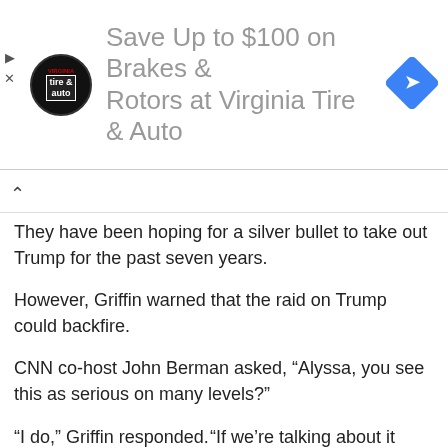[Figure (other): Advertisement banner for Virginia Tire & Auto offering Save Up to $100 on Brakes & Rotors, with circular logo on left and blue diamond navigation icon on right]
They have been hoping for a silver bullet to take out Trump for the past seven years.
However, Griffin warned that the raid on Trump could backfire.
CNN co-host John Berman asked, “Alyssa, you see this as serious on many levels?”
“I do,” Griffin responded. “If we’re talking about it being vital national security documents, I don’t think we can forget that those — even if it is top secret — those can pose a grave national security risk if it’s in the wrong hands or made its way out to the public.”